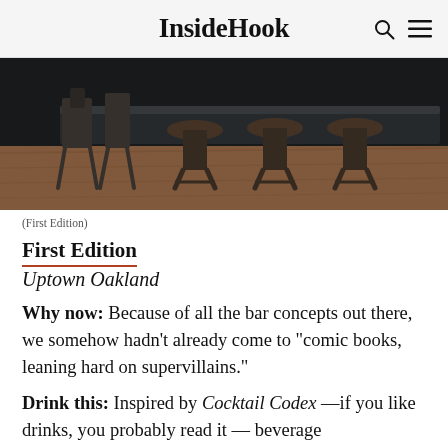InsideHook
[Figure (photo): Interior of a bar with wooden stools and a dark counter top, warm wooden floor, industrial style metal chairs]
(First Edition)
First Edition
Uptown Oakland
Why now: Because of all the bar concepts out there, we somehow hadn't already come to "comic books, leaning hard on supervillains."
Drink this: Inspired by Cocktail Codex —if you like drinks, you probably read it — beverage